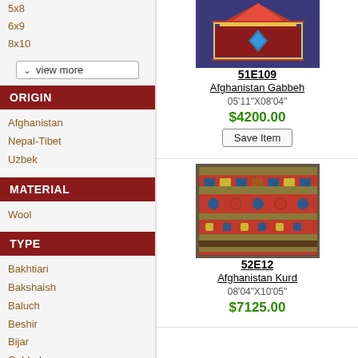5x8
6x9
8x10
ORIGIN
Afghanistan
Nepal-Tibet
Uzbek
MATERIAL
Wool
TYPE
Bakhtiari
Bakshaish
Baluch
Beshir
Bijar
Gabbeh
Gaon Naksha
[Figure (photo): Colorful traditional Afghan Gabbeh rug with geometric patterns, red and blue tones]
51E109
Afghanistan Gabbeh
05'11"X08'04"
$4200.00
[Figure (photo): Colorful traditional Afghanistan Kurd rug with geometric stripe patterns, predominantly red with blue and ivory]
52E12
Afghanistan Kurd
08'04"X10'05"
$7125.00